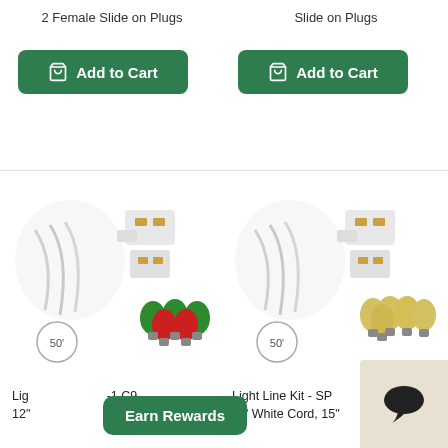2 Female Slide on Plugs
Slide on Plugs
Add to Cart
Add to Cart
[Figure (photo): Product image showing 50ft light line kit with green and red C9 bulbs and plugs]
[Figure (photo): Product image showing 50ft light line kit with warm white/gold C9 bulbs and plugs]
Lig -1 C9 12"
Light Line Kit - SP 50' White Cord, 15"
Earn Rewards